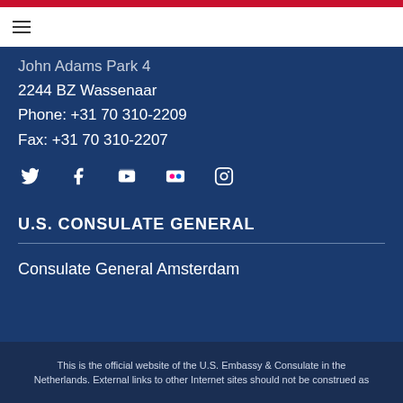John Adams Park 4
2244 BZ Wassenaar
Phone: +31 70 310-2209
Fax: +31 70 310-2207
[Figure (infographic): Row of social media icons: Twitter, Facebook, YouTube, Flickr, Instagram]
U.S. CONSULATE GENERAL
Consulate General Amsterdam
This is the official website of the U.S. Embassy & Consulate in the Netherlands. External links to other Internet sites should not be construed as